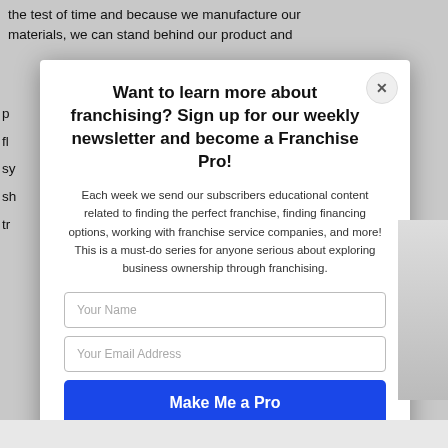the test of time and because we manufacture our materials, we can stand behind our product and
Want to learn more about franchising? Sign up for our weekly newsletter and become a Franchise Pro!
Each week we send our subscribers educational content related to finding the perfect franchise, finding financing options, working with franchise service companies, and more! This is a must-do series for anyone serious about exploring business ownership through franchising.
Your Name
Your Email Address
Make Me a Pro